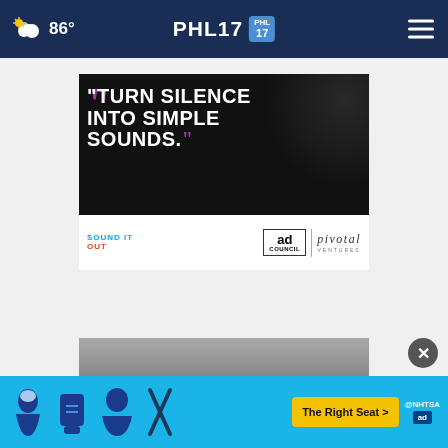PHL17 | 86°
[Figure (infographic): Advertisement: 'TURN SILENCE INTO SIMPLE SOUNDS.' with large purple quotation marks on black background. Bottom bar shows Sound It Out logo, Ad Council logo, and Pivotal branding.]
[Figure (infographic): NHTSA bottom advertisement banner with car seat icons and 'The Right Seat >' button on blue background.]